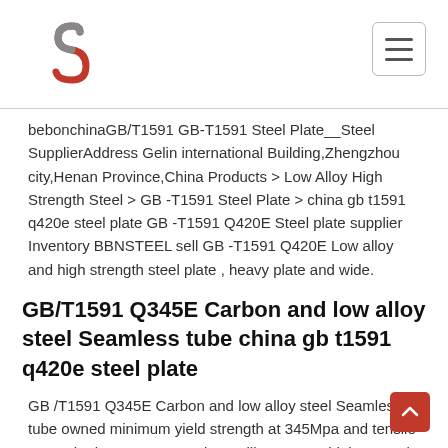bebonchinaGB/T1591 GB-T1591 Steel Plate__Steel SupplierAddress Gelin international Building,Zhengzhou city,Henan Province,China Products > Low Alloy High Strength Steel > GB -T1591 Steel Plate > china gb t1591 q420e steel plate GB -T1591 Q420E Steel plate supplier Inventory BBNSTEEL sell GB -T1591 Q420E Low alloy and high strength steel plate , heavy plate and wide.
GB/T1591 Q345E Carbon and low alloy steel Seamless tube china gb t1591 q420e steel plate
GB /T1591 Q345E Carbon and low alloy steel Seamless tube owned minimum yield strength at 345Mpa and tensile strength above 470Mpa.When rolling Q345E high strength steel pipe,the impacting test shall be done under low temperature at minus 40 centigrade. Q345E high strength steel pipe is widely used to ships, boilers, pressure vessels, oil storage china gb t1591 q420e steel plate Gb t1591 Q345b Carbon High Strength Steel